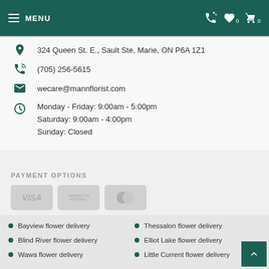MENU
324 Queen St. E., Sault Ste, Marie, ON P6A 1Z1
(705) 256-5615
wecare@mannflorist.com
Monday - Friday: 9:00am - 5:00pm
Saturday: 9:00am - 4:00pm
Sunday: Closed
PAYMENT OPTIONS
[Figure (other): Payment card logos: Visa, American Express/Interac, Mastercard shown as grey placeholder boxes]
Bayview flower delivery
Blind River flower delivery
Wawa flower delivery
Thessalon flower delivery
Elliot Lake flower delivery
Little Current flower delivery